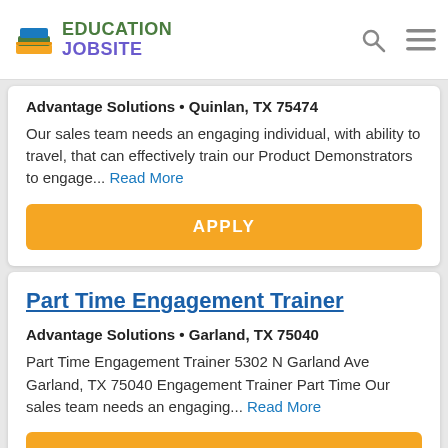Education Jobsite
Advantage Solutions • Quinlan, TX 75474
Our sales team needs an engaging individual, with ability to travel, that can effectively train our Product Demonstrators to engage... Read More
APPLY
Part Time Engagement Trainer
Advantage Solutions • Garland, TX 75040
Part Time Engagement Trainer 5302 N Garland Ave Garland, TX 75040 Engagement Trainer Part Time Our sales team needs an engaging... Read More
APPLY